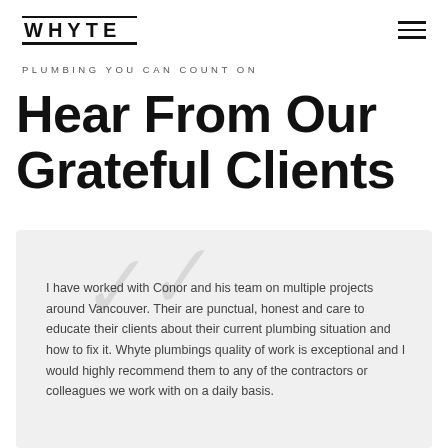WHYTE
PLUMBING YOU CAN COUNT ON
Hear From Our Grateful Clients
I have worked with Conor and his team on multiple projects around Vancouver. Their are punctual, honest and care to educate their clients about their current plumbing situation and how to fix it. Whyte plumbings quality of work is exceptional and I would highly recommend them to any of the contractors or colleagues we work with on a daily basis.